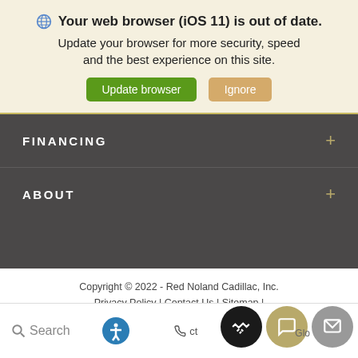Your web browser (iOS 11) is out of date. Update your browser for more security, speed and the best experience on this site.
Update browser | Ignore
FINANCING
ABOUT
Copyright © 2022 - Red Noland Cadillac, Inc.
Privacy Policy | Contact Us | Sitemap |
Advanced Automotive Dealer Websites by Dealer Inspire
[Figure (screenshot): Bottom toolbar with Search, accessibility icon, Contact, and floating action buttons (handshake, chat, message)]